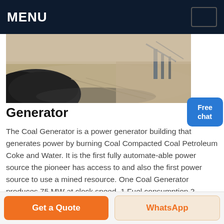MENU
[Figure (photo): Aerial or ground-level photo of coal/dark mineral material being unloaded or piled on a sandy/dusty surface, with industrial equipment visible.]
Generator
The Coal Generator is a power generator building that generates power by burning Coal Compacted Coal Petroleum Coke and Water. It is the first fully automate-able power source the pioneer has access to and also the first power source to use a mined resource. One Coal Generator produces 75 MW at clock speed. 1 Fuel consumption 2 Generators per Coal node 3 Generators fueled by